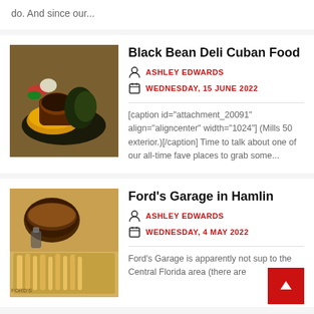do. And since our...
Black Bean Deli Cuban Food
ASHLEY EDWARDS
WEDNESDAY, 15 JUNE 2022
[caption id="attachment_20091" align="aligncenter" width="1024"] (Mills 50 exterior.)[/caption] Time to talk about one of our all-time fave places to grab some...
[Figure (photo): Photo of Cuban food dish with grilled chicken, yellow rice, black beans, and salad on a dark plate]
Ford's Garage in Hamlin
ASHLEY EDWARDS
WEDNESDAY, 4 MAY 2022
Ford's Garage is apparently not sup to the Central Florida area (there are
[Figure (photo): Photo of a burger with fries at Ford's Garage restaurant]